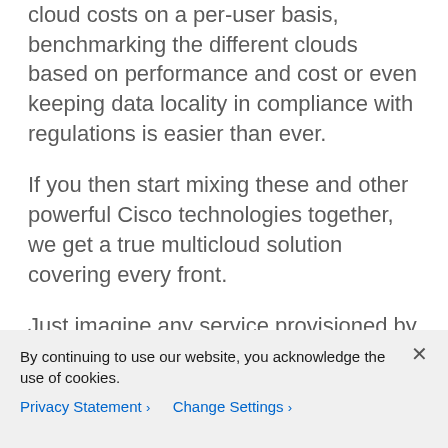cloud costs on a per-user basis, benchmarking the different clouds based on performance and cost or even keeping data locality in compliance with regulations is easier than ever.
If you then start mixing these and other powerful Cisco technologies together, we get a true multicloud solution covering every front.
Just imagine any service provisioned by CloudCenter on any cloud, immediately monitored and secured with AppDynamics and Tetration, by automating sensor installations as part of the Application Profile.
By continuing to use our website, you acknowledge the use of cookies.
Privacy Statement > Change Settings >